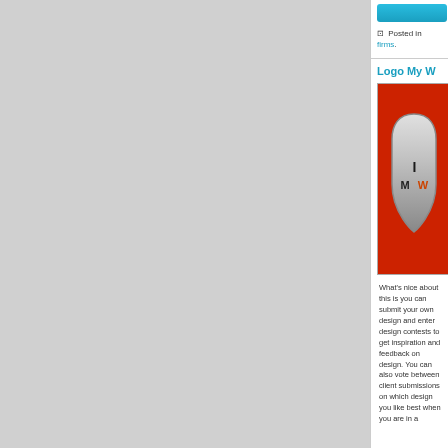[Figure (screenshot): Blue button UI element (partially visible)]
Posted in firms.
Logo My W...
[Figure (logo): Red background with a silver shield/guitar pick shaped logo containing the letters IM W in dark/orange colors]
What's nice about this is you can submit your own design and enter design contests to get inspiration and feedback on design. You can also vote between client submissions on which design you like best when you are in a...